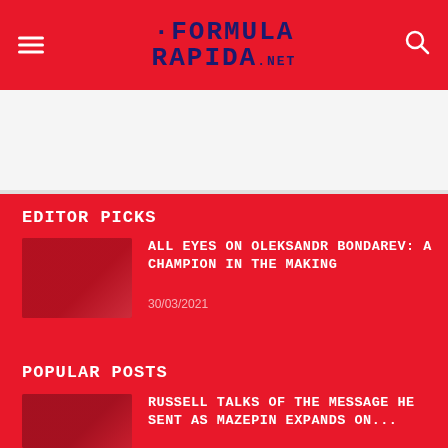FORMULA RAPIDA.NET
[Figure (other): Ad/banner white area]
EDITOR PICKS
[Figure (photo): Article thumbnail for Oleksandr Bondarev article]
ALL EYES ON OLEKSANDR BONDAREV: A CHAMPION IN THE MAKING
30/03/2021
POPULAR POSTS
[Figure (photo): Article thumbnail for Russell/Mazepin article]
RUSSELL TALKS OF THE MESSAGE HE SENT AS MAZEPIN EXPANDS ON...